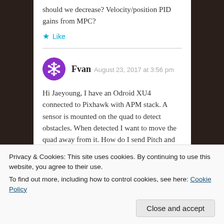should we decrease? Velocity/position PID gains from MPC?
★ Like
Fvan  August 23, 2017 at 3:56 pm
Hi Jaeyoung, I have an Odroid XU4 connected to Pixhawk with APM stack. A sensor is mounted on the quad to detect obstacles. When detected I want to move the quad away from it. How do I send Pitch and Roll values via MAVROS? Thanks
Privacy & Cookies: This site uses cookies. By continuing to use this website, you agree to their use.
To find out more, including how to control cookies, see here: Cookie Policy
Close and accept